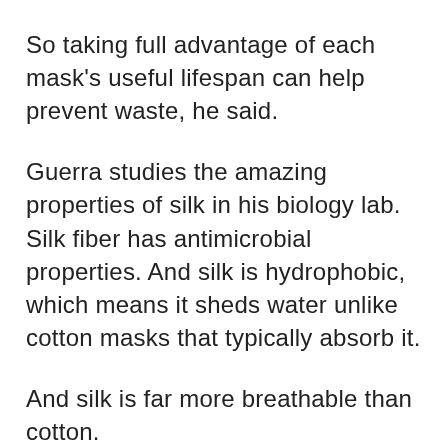So taking full advantage of each mask's useful lifespan can help prevent waste, he said.
Guerra studies the amazing properties of silk in his biology lab. Silk fiber has antimicrobial properties. And silk is hydrophobic, which means it sheds water unlike cotton masks that typically absorb it.
And silk is far more breathable than cotton.
“We showed that a silk mask doesn’t increase the burden of breathing when used in a double layer with a surgical mask. It wasn’t uncomfortable,” Guerra said. “And it enhances the ability of surgical masks to do